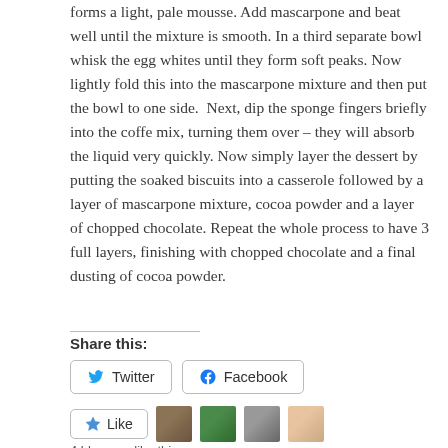forms a light, pale mousse. Add mascarpone and beat well until the mixture is smooth. In a third separate bowl whisk the egg whites until they form soft peaks. Now lightly fold this into the mascarpone mixture and then put the bowl to one side.  Next, dip the sponge fingers briefly into the coffe mix, turning them over – they will absorb the liquid very quickly. Now simply layer the dessert by putting the soaked biscuits into a casserole followed by a layer of mascarpone mixture, cocoa powder and a layer of chopped chocolate. Repeat the whole process to have 3 full layers, finishing with chopped chocolate and a final dusting of cocoa powder.
Share this:
Twitter
Facebook
Like
4 bloggers like this.